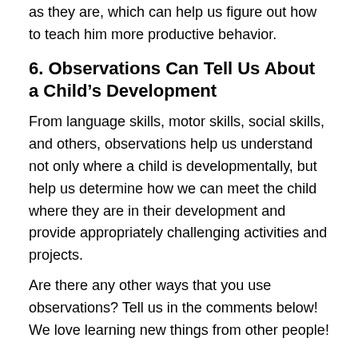as they are, which can help us figure out how to teach him more productive behavior.
6. Observations Can Tell Us About a Child’s Development
From language skills, motor skills, social skills, and others, observations help us understand not only where a child is developmentally, but help us determine how we can meet the child where they are in their development and provide appropriately challenging activities and projects.
Are there any other ways that you use observations? Tell us in the comments below! We love learning new things from other people!